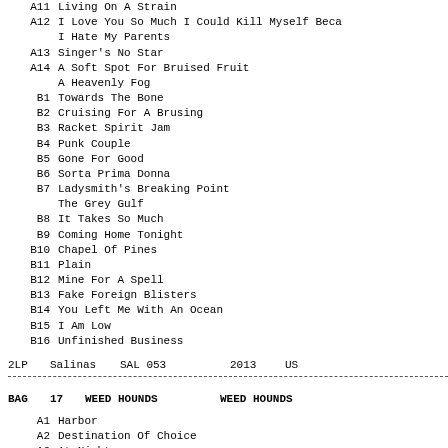A11  Living On A Strain
A12  I Love You So Much I Could Kill Myself Beca / I Hate My Parents
A13  Singer's No Star
A14  A Soft Spot For Bruised Fruit / A Heavenly Fog
B1   Towards The Bone
B2   Cruising For A Brusing
B3   Racket Spirit Jam
B4   Punk Couple
B5   Gone For Good
B6   Sorta Prima Donna
B7   Ladysmith's Breaking Point / The Grey Gulf
B8   It Takes So Much
B9   Coming Home Tonight
B10  Chapel Of Pines
B11  Plain
B12  Mine For A Spell
B13  Fake Foreign Blisters
B14  You Left Me With An Ocean
B15  I Am Low
B16  Unfinished Business
| Type | Artist | Catalog | Year | Country |
| --- | --- | --- | --- | --- |
| 2LP | Salinas | SAL 053 | 2013 | US |
| Type | Num | Artist | Artist2 |
| --- | --- | --- | --- |
| BAG | 17 | WEED HOUNDS | WEED HOUNDS |
A1  Harbor
A2  Destination Of Choice
A3  At Night
A4  Best Deli
A5  Heather W